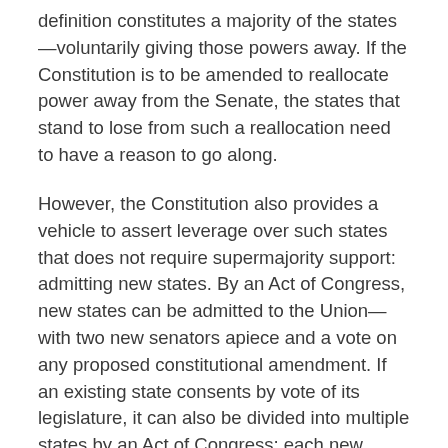definition constitutes a majority of the states—voluntarily giving those powers away. If the Constitution is to be amended to reallocate power away from the Senate, the states that stand to lose from such a reallocation need to have a reason to go along.
However, the Constitution also provides a vehicle to assert leverage over such states that does not require supermajority support: admitting new states. By an Act of Congress, new states can be admitted to the Union—with two new senators apiece and a vote on any proposed constitutional amendment. If an existing state consents by vote of its legislature, it can also be divided into multiple states by an Act of Congress; each new subdivided state would similarly be entitled to two senators and a vote on any constitutional amendment (application of this latter tool to sever Maine from Massachusetts was